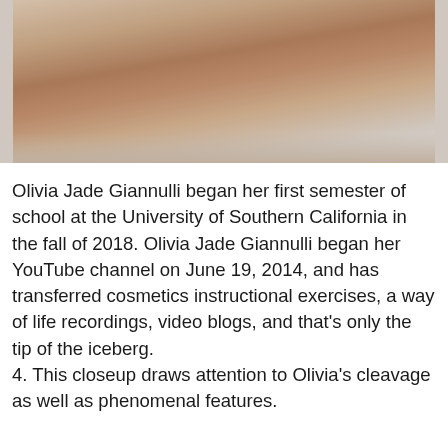[Figure (photo): Close-up photo of a person's torso wearing a white crop top and denim shorts, arms raised, with a warm-toned background.]
Olivia Jade Giannulli began her first semester of school at the University of Southern California in the fall of 2018. Olivia Jade Giannulli began her YouTube channel on June 19, 2014, and has transferred cosmetics instructional exercises, a way of life recordings, video blogs, and that's only the tip of the iceberg.
4. This closeup draws attention to Olivia's cleavage as well as phenomenal features.